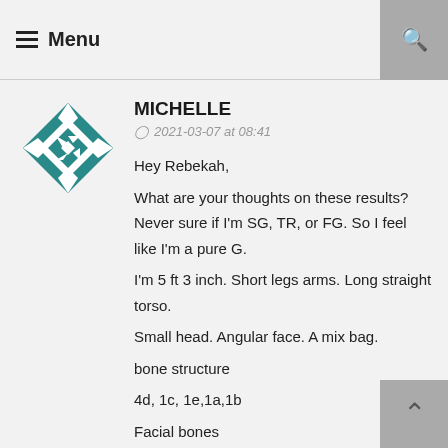Menu
MICHELLE
2021-03-07 at 08:41
Hey Rebekah,

What are your thoughts on these results? Never sure if I'm SG, TR, or FG. So I feel like I'm a pure G. I'm 5 ft 3 inch. Short legs arms. Long straight torso. Small head. Angular face. A mix bag.

bone structure

4d, 1c, 1e,1a,1b

Facial bones

1d,1a,1b

Body flesh

1b,2c

Facial features